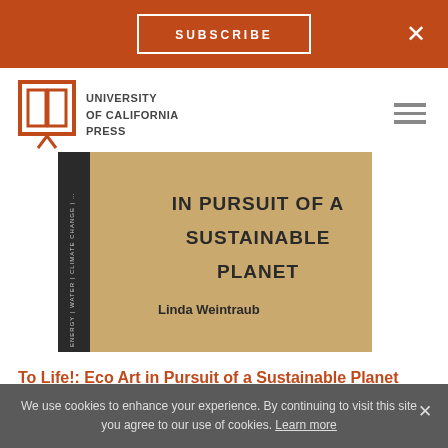SUBSCRIBE
[Figure (logo): University of California Press logo with stylized open book icon and text UNIVERSITY of CALIFORNIA PRESS]
[Figure (photo): Book cover of 'To Life!: Eco Art in Pursuit of a Sustainable Planet' by Linda Weintraub, showing kraft paper textured cover with large sans-serif title text]
To Life!: Eco Art in Pursuit of a Sustainable Planet
by Linda Weintraub (Author)
September 2012
Paperback $34.95, £27.00
We use cookies to enhance your experience. By continuing to visit this site you agree to our use of cookies. Learn more